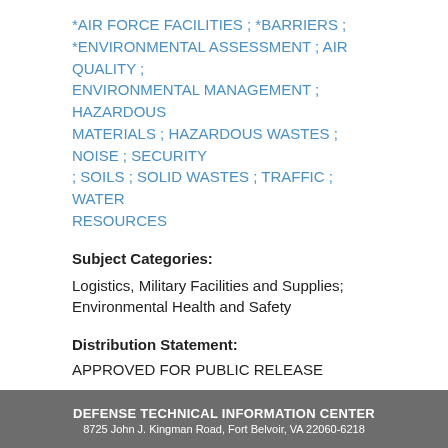*AIR FORCE FACILITIES ; *BARRIERS ; *ENVIRONMENTAL ASSESSMENT ; AIR QUALITY ; ENVIRONMENTAL MANAGEMENT ; HAZARDOUS MATERIALS ; HAZARDOUS WASTES ; NOISE ; SECURITY ; SOILS ; SOLID WASTES ; TRAFFIC ; WATER RESOURCES
Subject Categories:
Logistics, Military Facilities and Supplies; Environmental Health and Safety
Distribution Statement:
APPROVED FOR PUBLIC RELEASE
View the full text of this report
DEFENSE TECHNICAL INFORMATION CENTER
8725 John J. Kingman Road, Fort Belvoir, VA 22060-6218